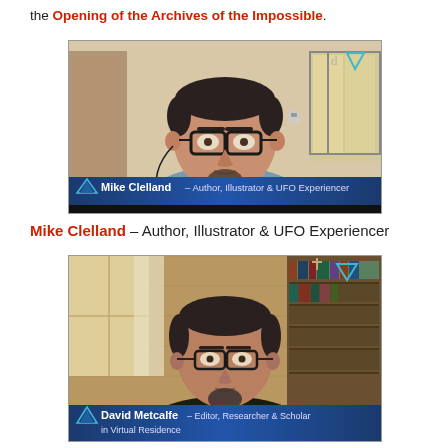the Opening of the Archives of the Impossible.
[Figure (photo): Video screenshot of Mike Clelland, a man with glasses and a goatee wearing a blue shirt, with a nameplate reading 'Mike Clelland - Author, Illustrator & UFO Experiencer' and an Archives of the Impossible logo in the top right corner.]
Mike Clelland – Author, Illustrator & UFO Experiencer
[Figure (photo): Video screenshot of David Metcalfe, a man with glasses and a goatee wearing a black t-shirt, seated in a room with bookshelves, with a nameplate reading 'David Metcalfe - Editor, Researcher & Scholar in Virtual Residence' and an Archives of the Impossible logo in the top right corner.]